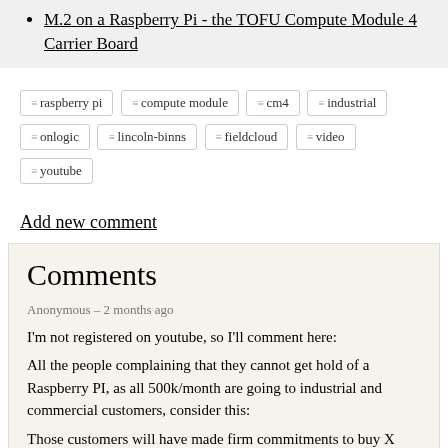M.2 on a Raspberry Pi - the TOFU Compute Module 4 Carrier Board
raspberry pi  compute module  cm4  industrial  onlogic  lincoln-binns  fieldcloud  video  youtube
Add new comment
Comments
Anonymous – 2 months ago
I'm not registered on youtube, so I'll comment here:
All the people complaining that they cannot get hold of a Raspberry PI, as all 500k/month are going to industrial and commercial customers, consider this:
Those customers will have made firm commitments to buy X units a month, for say 24 months. They might even have paid for